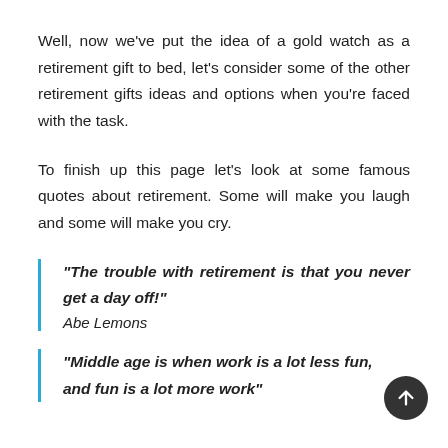Well, now we've put the idea of a gold watch as a retirement gift to bed, let's consider some of the other retirement gifts ideas and options when you're faced with the task.
To finish up this page let's look at some famous quotes about retirement. Some will make you laugh and some will make you cry.
"The trouble with retirement is that you never get a day off!"
Abe Lemons
"Middle age is when work is a lot less fun, and fun is a lot more work"